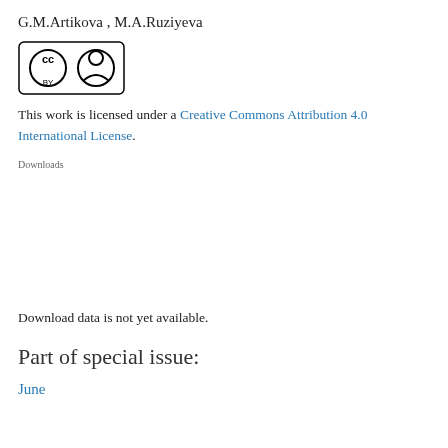G.M.Artikova , M.A.Ruziyeva
[Figure (logo): Creative Commons BY license badge — CC circle logo with person icon and 'BY' text, in black and white within a rounded rectangle border]
This work is licensed under a Creative Commons Attribution 4.0 International License.
Downloads
Download data is not yet available.
Part of special issue:
June